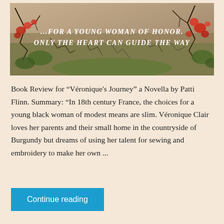[Figure (illustration): Book cover image showing a countryside scene with red flowers and bare branches, with white italic text reading '...FOR A YOUNG WOMAN OF HONOR. ONLY THE HEART CAN GUIDE THE WAY']
Book Review for “Véronique's Journey” a Novella by Patti Flinn. Summary: "In 18th century France, the choices for a young black woman of modest means are slim. Véronique Clair loves her parents and their small home in the countryside of Burgundy but dreams of using her talent for sewing and embroidery to make her own ...
Continue reading